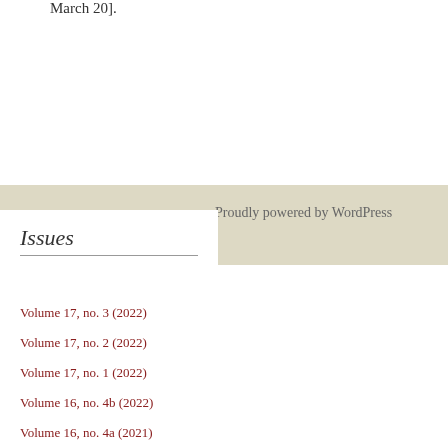March 20].
Proudly powered by WordPress
Issues
Volume 17, no. 3 (2022)
Volume 17, no. 2 (2022)
Volume 17, no. 1 (2022)
Volume 16, no. 4b (2022)
Volume 16, no. 4a (2021)
Volume 16, no. 3 (2021)
Volume 16, no. 2 (2021)